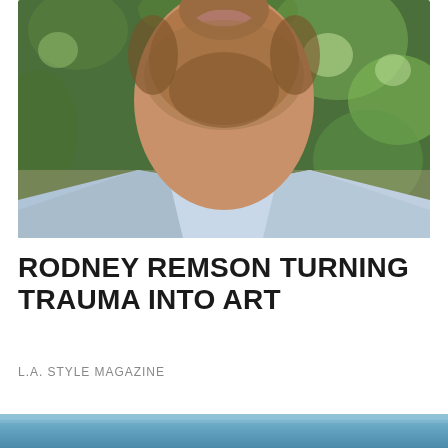[Figure (photo): Close-up portrait photo of a man with a beard and short dark hair, wearing a light blue/grey button-up shirt, with a blurred green leafy background. The photo is cropped from chin/lips to upper chest.]
RODNEY REMSON TURNING TRAUMA INTO ART
L.A. STYLE MAGAZINE
[Figure (photo): Partial view of a blue-toned banner or image at the bottom of the page, showing a gradient from light blue to steel blue, partially cropped.]